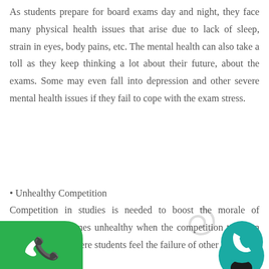As students prepare for board exams day and night, they face many physical health issues that arise due to lack of sleep, strain in eyes, body pains, etc. The mental health can also take a toll as they keep thinking a lot about their future, about the exams. Some may even fall into depression and other severe mental health issues if they fail to cope with the exam stress.
• Unhealthy Competition
Competition in studies is needed to boost the morale of students. It becomes unhealthy when the competition takes an unhealthy turn where students feel the failure of other students.
This is not favorable to students as a whole and creates unnecessary problems between them.
• Distractions/Unable to Concentrate
Students have the problem of the inability to concentrate
[Figure (screenshot): Chat popup overlay showing close button (X), avatar of a woman in teal circle top right, chat message box saying 'Hi, I'm Remya from Elysian Inspires', green phone button bottom left, teal phone button bottom right, and gray swirl icon.]